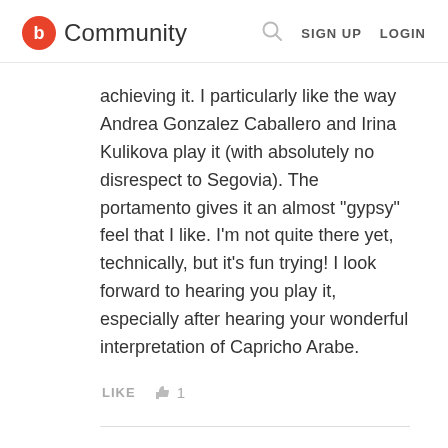b Community | SIGN UP  LOGIN
achieving it. I particularly like the way Andrea Gonzalez Caballero and Irina Kulikova play it (with absolutely no disrespect to Segovia). The portamento gives it an almost "gypsy" feel that I like. I'm not quite there yet, technically, but it's fun trying! I look forward to hearing you play it, especially after hearing your wonderful interpretation of Capricho Arabe.
LIKE  👍 1